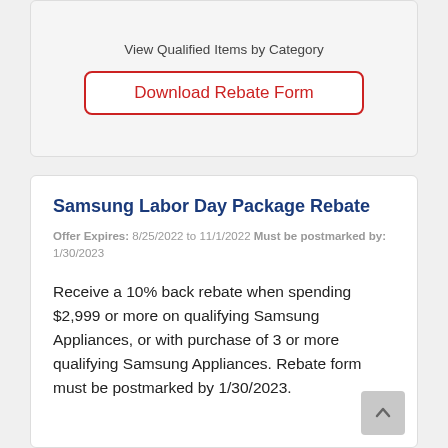View Qualified Items by Category
Download Rebate Form
Samsung Labor Day Package Rebate
Offer Expires: 8/25/2022 to 11/1/2022 Must be postmarked by: 1/30/2023
Receive a 10% back rebate when spending $2,999 or more on qualifying Samsung Appliances, or with purchase of 3 or more qualifying Samsung Appliances. Rebate form must be postmarked by 1/30/2023.